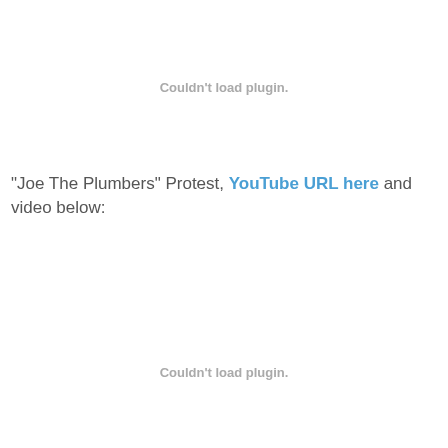[Figure (other): Couldn't load plugin. placeholder box at top of page]
"Joe The Plumbers" Protest, YouTube URL here and video below:
[Figure (other): Couldn't load plugin. placeholder box in lower portion of page]